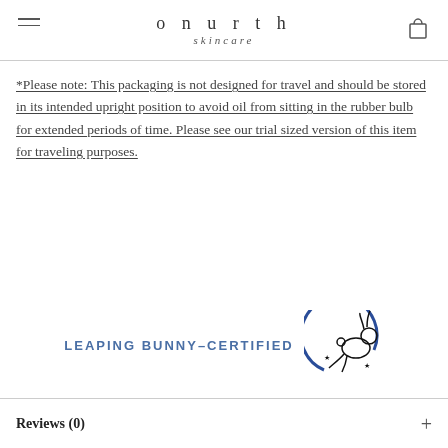onurth skincare
*Please note: This packaging is not designed for travel and should be stored in its intended upright position to avoid oil from sitting in the rubber bulb for extended periods of time. Please see our trial sized version of this item for traveling purposes.
[Figure (logo): Leaping Bunny Certified logo with text 'LEAPING BUNNY-CERTIFIED' in blue and a leaping bunny illustration with stars in a circular arc]
Reviews (0)